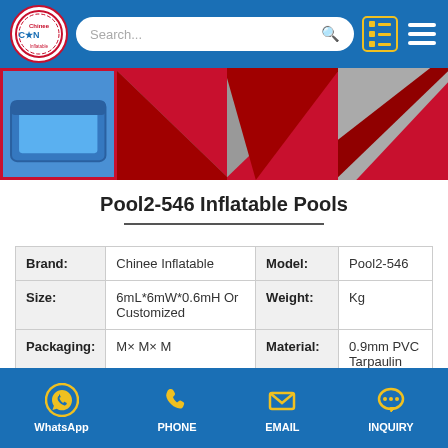[Figure (screenshot): Website header with Chinee Inflatable logo, search bar, list icon, and hamburger menu on blue background]
[Figure (photo): Row of four product images showing inflatable pools - blue pool and red inflatable corners]
Pool2-546 Inflatable Pools
| Brand: | Chinee Inflatable | Model: | Pool2-546 |
| --- | --- | --- | --- |
| Brand: | Chinee Inflatable | Model: | Pool2-546 |
| Size: | 6mL*6mW*0.6mH Or Customized | Weight: | Kg |
| Packaging: | M× M× M | Material: | 0.9mm PVC Tarpaulin |
[Figure (screenshot): Footer with WhatsApp, Phone, Email, and Inquiry icons in yellow on blue background]